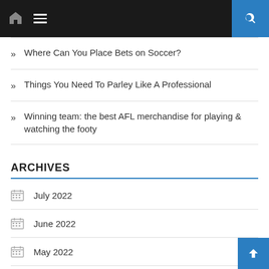Navigation bar with home icon, menu icon, and search button
Where Can You Place Bets on Soccer?
Things You Need To Parley Like A Professional
Winning team: the best AFL merchandise for playing & watching the footy
ARCHIVES
July 2022
June 2022
May 2022